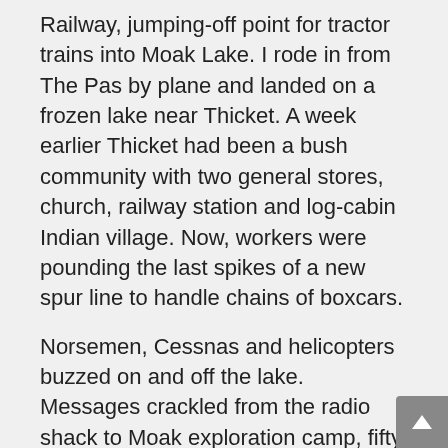Railway, jumping-off point for tractor trains into Moak Lake. I rode in from The Pas by plane and landed on a frozen lake near Thicket. A week earlier Thicket had been a bush community with two general stores, church, railway station and log-cabin Indian village. Now, workers were pounding the last spikes of a new spur line to handle chains of boxcars.
Norsemen, Cessnas and helicopters buzzed on and off the lake. Messages crackled from the radio shack to Moak exploration camp, fifty miles north. Bulldozers of the Patricia transport company had carved a campsite out of the timber. The first of a hundred and ten men, thirty diesel tractors and about